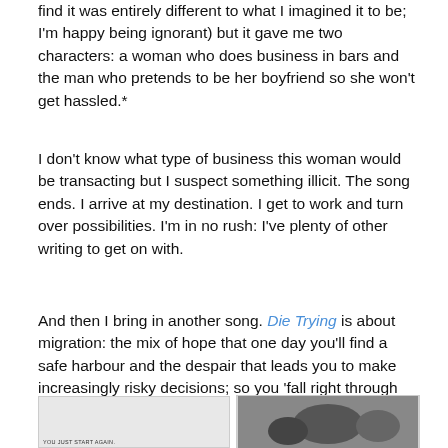find it was entirely different to what I imagined it to be; I'm happy being ignorant) but it gave me two characters: a woman who does business in bars and the man who pretends to be her boyfriend so she won't get hassled.*
I don't know what type of business this woman would be transacting but I suspect something illicit. The song ends. I arrive at my destination. I get to work and turn over possibilities. I'm in no rush: I've plenty of other writing to get on with.
And then I bring in another song. Die Trying is about migration: the mix of hope that one day you'll find a safe harbour and the despair that leads you to make increasingly risky decisions; so you 'fall right through the world and disappear.'
[Figure (photo): Small photograph with text 'YOU JUST START AGAIN.' visible at bottom left]
[Figure (photo): Small dark photograph on the right side of the strip]